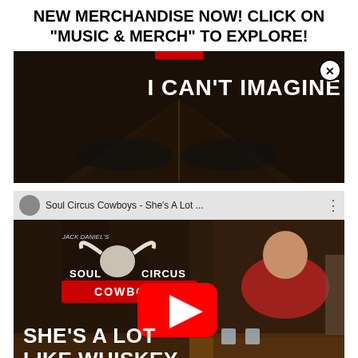NEW MERCHANDISE NOW! CLICK ON "MUSIC & MERCH" TO EXPLORE!
[Figure (screenshot): Video thumbnail for 'I Can't Imagine' - dark road background with white bold text 'I CAN'T IMAGINE' and a circular close button (X) in top right corner, with a red accent bar at top center.]
[Figure (screenshot): YouTube video thumbnail for Soul Circus Cowboys 'She's A Lot Like Whiskey'. Shows a bar scene with a woman in a red top on the right, Jack Daniels branding top left, Soul Circus Cowboys logo with bull skull in center-left, large white bold text 'SHE'S A LOT LIKE WHISKEY' at bottom left, and a YouTube play button in the center. Top bar shows video title 'Soul Circus Cowboys - She's A Lot ...' with a three-dot menu icon.]